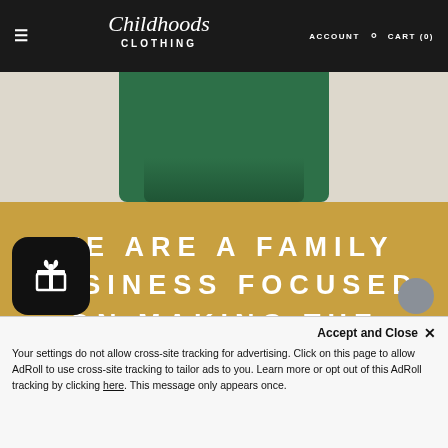≡  Childhoods Clothing  ACCOUNT  🔍  CART (0)
[Figure (photo): Partial view of a child wearing a green long-sleeve shirt against a light beige background]
WE ARE A FAMILY BUSINESS FOCUSED ON MAKING THE COZIEST BABY AND TODDLER CLOTHING
[Figure (other): Gift/loyalty widget icon (black rounded square with gift box icon)]
Your settings do not allow cross-site tracking for advertising. Click on this page to allow AdRoll to use cross-site tracking to tailor ads to you. Learn more or opt out of this AdRoll tracking by clicking here. This message only appears once.